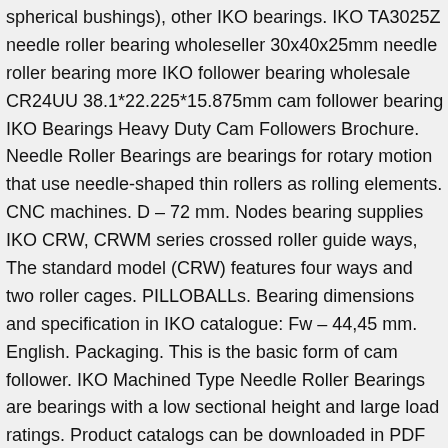spherical bushings), other IKO bearings. IKO TA3025Z needle roller bearing wholeseller 30x40x25mm needle roller bearing more IKO follower bearing wholesale CR24UU 38.1*22.225*15.875mm cam follower bearing IKO Bearings Heavy Duty Cam Followers Brochure. Needle Roller Bearings are bearings for rotary motion that use needle-shaped thin rollers as rolling elements. CNC machines. D – 72 mm. Nodes bearing supplies IKO CRW, CRWM series crossed roller guide ways, The standard model (CRW) features four ways and two roller cages. PILLOBALLs. Bearing dimensions and specification in IKO catalogue: Fw – 44,45 mm. English. Packaging. This is the basic form of cam follower. IKO Machined Type Needle Roller Bearings are bearings with a low sectional height and large load ratings. Product catalogs can be downloaded in PDF format. Our full line of bearing meets your highest quality and performance standards. Widely used in machine tools, industrial robots and medical equipment because of their high rotational accuracy. Needle Roller Bearings PILLOBALLS PB PHS PHSA POS IKO PILLOBALLs are compact self-aligning spherical bushings which